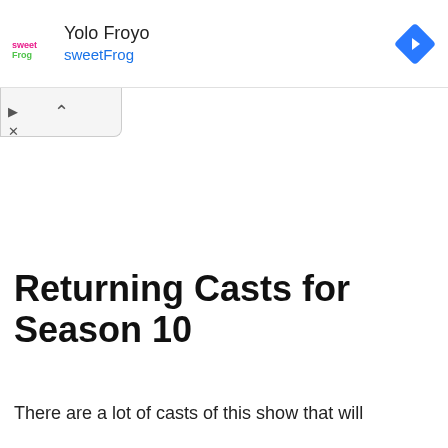[Figure (screenshot): Advertisement banner for Yolo Froyo sweetFrog with logo, text, and navigation arrow icon]
[Figure (other): Collapse/chevron-up button UI element below the ad banner]
Returning Casts for Season 10
There are a lot of casts of this show that will